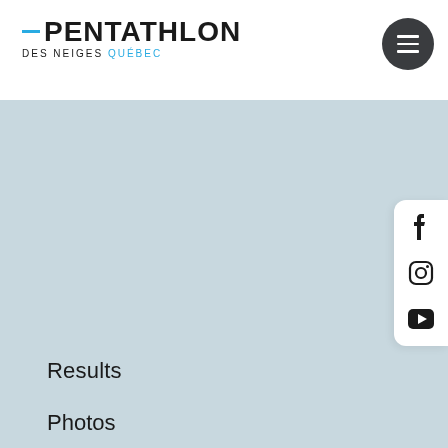[Figure (logo): Pentathlon des neiges Québec logo with blue bar accent and cyan QUÉBEC text]
[Figure (other): Dark circular hamburger menu button with three white horizontal lines]
Medias
Contact us
Français
Sitemap
Program
Results
Photos
Videos
[Figure (other): Social media sidebar with Facebook, Instagram, and YouTube icons]